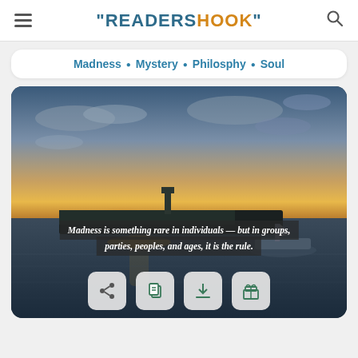"READERSHOOK"
Madness • Mystery • Philosphy • Soul
[Figure (photo): Sunset over a harbor with a boat on the water and a breakwater in the background. A quote overlay reads: 'Madness is something rare in individuals — but in groups, parties, peoples, and ages, it is the rule.']
Madness is something rare in individuals — but in groups, parties, peoples, and ages, it is the rule.